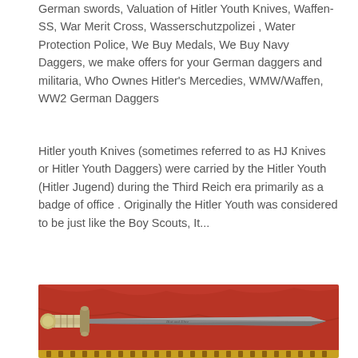German swords, Valuation of Hitler Youth Knives, Waffen-SS, War Merit Cross, Wasserschutzpolizei , Water Protection Police, We Buy Medals, We Buy Navy Daggers, we make offers for your German daggers and militaria, Who Ownes Hitler's Mercedies, WMW/Waffen, WW2 German Daggers
Hitler youth Knives (sometimes referred to as HJ Knives or Hitler Youth Daggers) were carried by the Hitler Youth (Hitler Jugend) during the Third Reich era primarily as a badge of office . Originally the Hitler Youth was considered to be just like the Boy Scouts, It...
[Figure (photo): A photograph of a historical German dagger/sword with ivory or bone handle, metal crossguard, and a long blade with inscription, displayed on a red fabric background. The bottom edge of the image shows a decorative strip with small figures.]